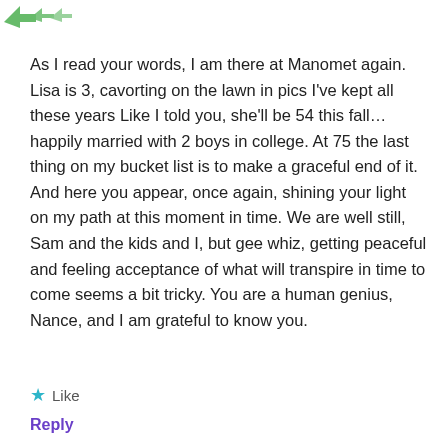[Figure (other): Green arrow icons in the top-left header area]
As I read your words, I am there at Manomet again. Lisa is 3, cavorting on the lawn in pics I've kept all these years Like I told you, she'll be 54 this fall…happily married with 2 boys in college. At 75 the last thing on my bucket list is to make a graceful end of it. And here you appear, once again, shining your light on my path at this moment in time. We are well still, Sam and the kids and I, but gee whiz, getting peaceful and feeling acceptance of what will transpire in time to come seems a bit tricky. You are a human genius, Nance, and I am grateful to know you.
★ Like
Reply